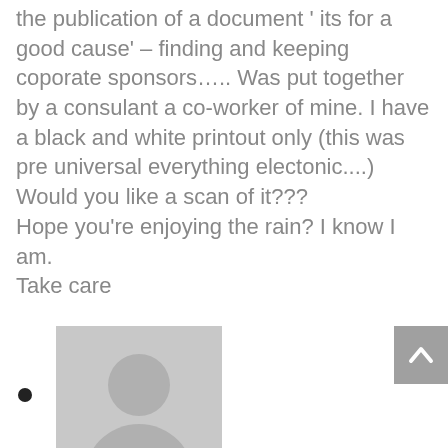the publication of a document ' its for a good cause' – finding and keeping coporate sponsors….. Was put together by a consulant a co-worker of mine. I have a black and white printout only (this was pre universal everything electonic....) Would you like a scan of it???
Hope you're enjoying the rain? I know I am.
Take care
[Figure (illustration): Generic grey user avatar placeholder image showing a silhouette with head and shoulders]
Anna Dixon on 12/06/2019 at 4:09 pm
Hi Nancye
Sure, that would be interesting! Pop